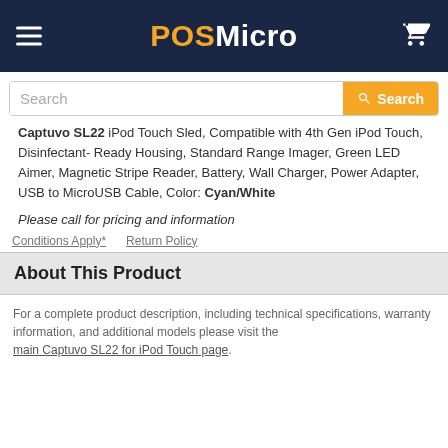POSMicro
Captuvo SL22 iPod Touch Sled, Compatible with 4th Gen iPod Touch, Disinfectant- Ready Housing, Standard Range Imager, Green LED Aimer, Magnetic Stripe Reader, Battery, Wall Charger, Power Adapter, USB to MicroUSB Cable, Color: Cyan/White
Please call for pricing and information
Conditions Apply*   Return Policy
About This Product
For a complete product description, including technical specifications, warranty information, and additional models please visit the main Captuvo SL22 for iPod Touch page.